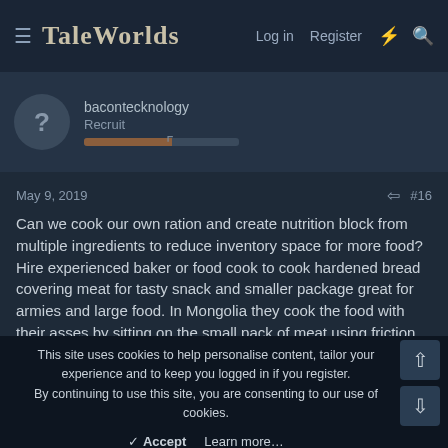TaleWorlds — Log in  Register
bacontecknology
Recruit
May 9, 2019   #16
Can we cook our own ration and create nutrition block from multiple ingredients to reduce inventory space for more food? Hire experienced baker or food cook to cook hardened bread covering meat for tasty snack and smaller package great for armies and large food. In Mongolia they cook the food with their asses by sitting on the small pack of meat using friction with the horse to cook a tasty compact meal XD
This site uses cookies to help personalise content, tailor your experience and to keep you logged in if you register.
By continuing to use this site, you are consenting to our use of cookies.
✓ Accept   Learn more…